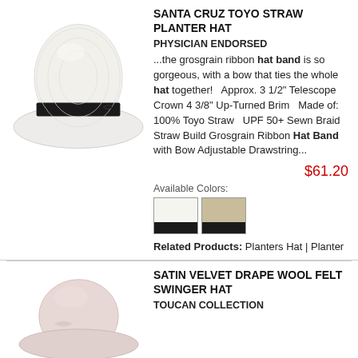[Figure (photo): White straw planter hat with black grosgrain band and bow, up-turned brim]
SANTA CRUZ TOYO STRAW PLANTER HAT
PHYSICIAN ENDORSED
...the grosgrain ribbon hat band is so gorgeous, with a bow that ties the whole hat together!   Approx. 3 1/2" Telescope Crown 4 3/8" Up-Turned Brim   Made of: 100% Toyo Straw   UPF 50+ Sewn Braid Straw Build Grosgrain Ribbon Hat Band with Bow Adjustable Drawstring...
$61.20
Available Colors:
[Figure (illustration): Two color swatches: white with black band, tan/khaki with black band]
Related Products: Planters Hat | Planter
[Figure (photo): Blush/pink wool felt swinger hat with draped crown]
SATIN VELVET DRAPE WOOL FELT SWINGER HAT
TOUCAN COLLECTION